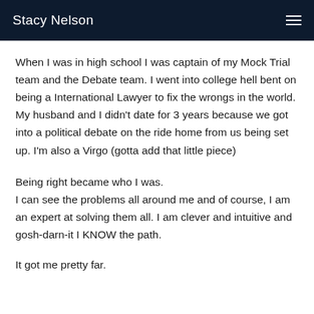Stacy Nelson
When I was in high school I was captain of my Mock Trial team and the Debate team. I went into college hell bent on being a International Lawyer to fix the wrongs in the world. My husband and I didn't date for 3 years because we got into a political debate on the ride home from us being set up. I'm also a Virgo (gotta add that little piece)
Being right became who I was.
I can see the problems all around me and of course, I am an expert at solving them all. I am clever and intuitive and gosh-darn-it I KNOW the path.
It got me pretty far.